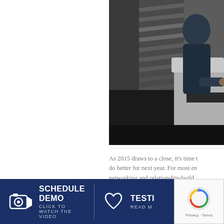[Figure (photo): Person sitting at a table in a dimly lit interior space, with blinds casting light stripes. The image is cropped showing the right half of the page.]
As 2015 draws to a close, it's time to do better for next year. For most en... networking and relationship-build... valuable connections with people.
SCHEDULE DEMO — CLICK TO WATCH THE VIDEO
TESTI... — READ M...
[Figure (other): reCAPTCHA widget with Privacy and Terms links]